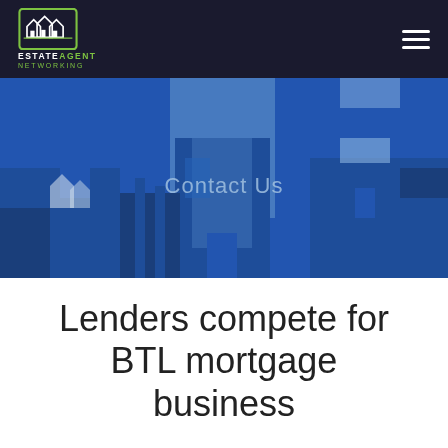ESTATE AGENT NETWORKING
[Figure (illustration): Stylized city skyline silhouette in shades of blue with 'Contact Us' text overlaid in light blue, used as a hero banner for an estate agent networking website]
Lenders compete for BTL mortgage business